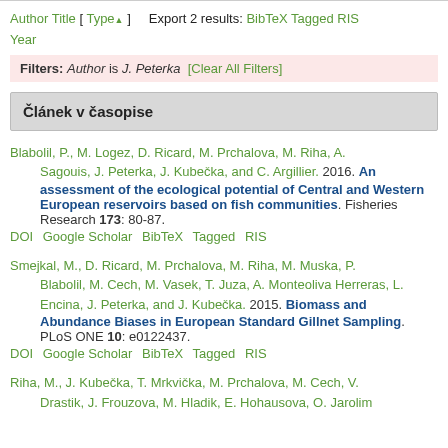Author Title [ Type▲ ]   Export 2 results: BibTeX Tagged RIS Year
Filters: Author is J. Peterka  [Clear All Filters]
Článek v časopise
Blabolil, P., M. Logez, D. Ricard, M. Prchalova, M. Riha, A. Sagouis, J. Peterka, J. Kubečka, and C. Argillier. 2016. An assessment of the ecological potential of Central and Western European reservoirs based on fish communities. Fisheries Research 173: 80-87. DOI Google Scholar BibTeX Tagged RIS
Smejkal, M., D. Ricard, M. Prchalova, M. Riha, M. Muska, P. Blabolil, M. Cech, M. Vasek, T. Juza, A. Monteoliva Herreras, L. Encina, J. Peterka, and J. Kubečka. 2015. Biomass and Abundance Biases in European Standard Gillnet Sampling. PLoS ONE 10: e0122437. DOI Google Scholar BibTeX Tagged RIS
Riha, M., J. Kubečka, T. Mrkvička, M. Prchalova, M. Cech, V. Drastik, J. Frouzova, M. Hladik, E. Hohausova, O. Jarolim